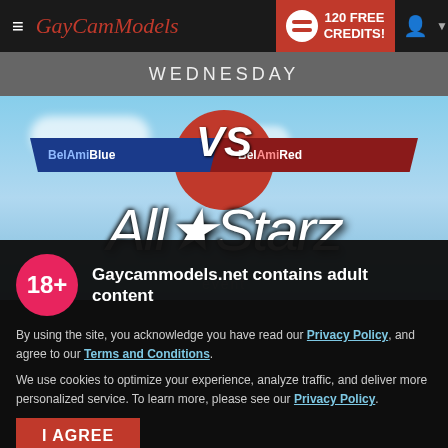GayCamModels — 120 FREE CREDITS!
WEDNESDAY
[Figure (illustration): BelAmiBlue VS BelAmiRed All Star event promotional graphic with sky background]
Gaycammodels.net contains adult content
By using the site, you acknowledge you have read our Privacy Policy, and agree to our Terms and Conditions.
We use cookies to optimize your experience, analyze traffic, and deliver more personalized service. To learn more, please see our Privacy Policy.
I AGREE